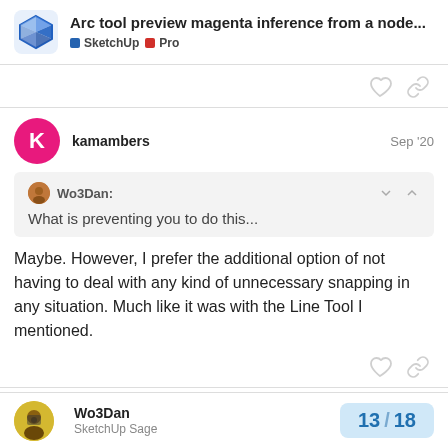Arc tool preview magenta inference from a node... SketchUp Pro
kamambers Sep '20
Wo3Dan: What is preventing you to do this...
Maybe. However, I prefer the additional option of not having to deal with any kind of unnecessary snapping in any situation. Much like it was with the Line Tool I mentioned.
Wo3Dan SketchUp Sage 13 / 18